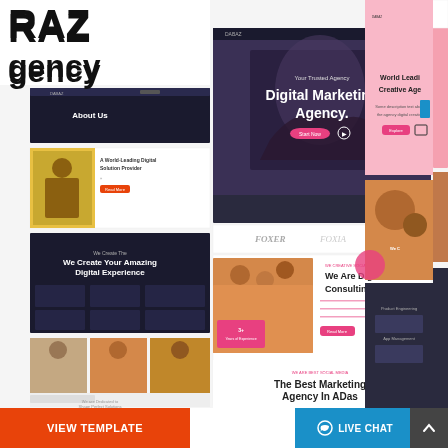RAZ
Agency
[Figure (screenshot): Collage of DARAZ digital marketing agency website template screenshots showing various sections including hero with 'Digital Marketing Agency.', about sections, team photos, partner logos (FOXER, AESPER), 'We Are Digital Creative Consulting Agency', 'The Best Marketing Agency In ADas' sections, and mobile/desktop views with pink/coral accent colors and dark overlays.]
VIEW TEMPLATE
LIVE CHAT